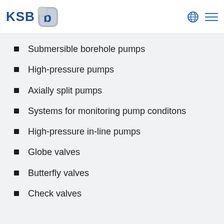[Figure (logo): KSB company logo with blue text 'KSB' and stylized blue-grey rounded square icon with letter b]
Submersible borehole pumps
High-pressure pumps
Axially split pumps
Systems for monitoring pump conditons
High-pressure in-line pumps
Globe valves
Butterfly valves
Check valves